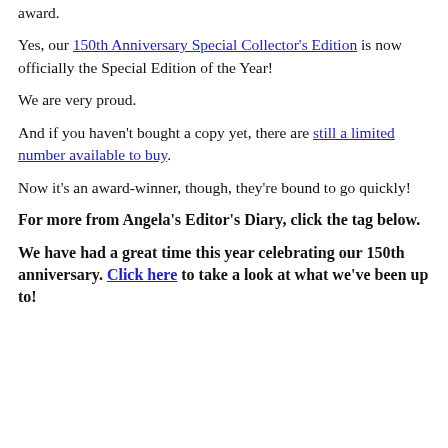award.
Yes, our 150th Anniversary Special Collector's Edition is now officially the Special Edition of the Year!
We are very proud.
And if you haven't bought a copy yet, there are still a limited number available to buy.
Now it's an award-winner, though, they're bound to go quickly!
For more from Angela's Editor's Diary, click the tag below.
We have had a great time this year celebrating our 150th anniversary. Click here to take a look at what we've been up to!